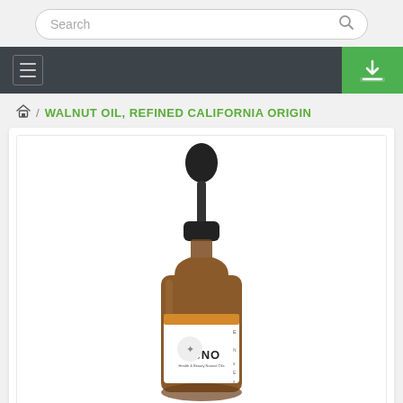Search
Navigation menu with hamburger icon and download button
WALNUT OIL, REFINED CALIFORNIA ORIGIN
[Figure (photo): Amber dropper bottle with black dropper cap, HBNO brand label with orange stripe and cherub logo, showing walnut essential oil product]